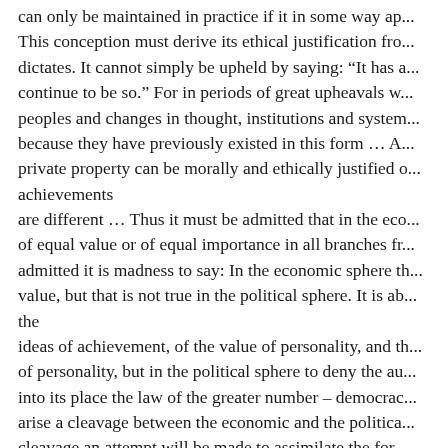can only be maintained in practice if it in some way ap... This conception must derive its ethical justification fro... dictates. It cannot simply be upheld by saying: "It has a... continue to be so." For in periods of great upheavals w... peoples and changes in thought, institutions and system... because they have previously existed in this form … A... private property can be morally and ethically justified o... achievements are different … Thus it must be admitted that in the eco... of equal value or of equal importance in all branches fr... admitted it is madness to say: In the economic sphere th... value, but that is not true in the political sphere. It is ab... the ideas of achievement, of the value of personality, and th... of personality, but in the political sphere to deny the au... into its place the law of the greater number – democrac... arise a cleavage between the economic and the politica... cleavage an attempt will be made to assimilate the for... indeed the attempt has been made, for this cleavage has...